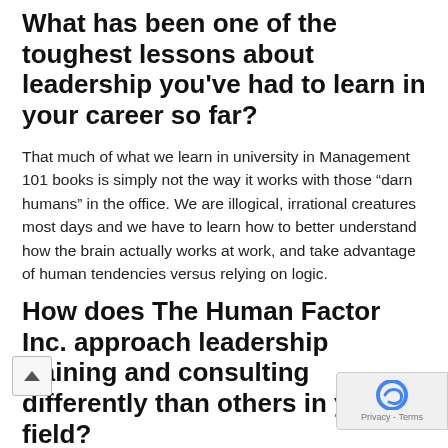What has been one of the toughest lessons about leadership you've had to learn in your career so far?
That much of what we learn in university in Management 101 books is simply not the way it works with those “darn humans” in the office. We are illogical, irrational creatures most days and we have to learn how to better understand how the brain actually works at work, and take advantage of human tendencies versus relying on logic.
How does The Human Factor Inc. approach leadership training and consulting differently than others in your field?
We leverage how the brain works at work. We help others understand the basics of the brain and how to manipulate (for good) other humans into achieving amazing things. We use